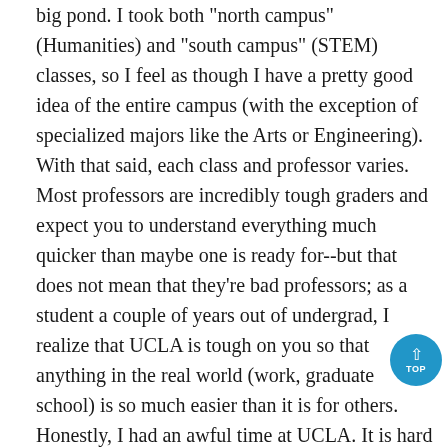big pond. I took both "north campus" (Humanities) and "south campus" (STEM) classes, so I feel as though I have a pretty good idea of the entire campus (with the exception of specialized majors like the Arts or Engineering). With that said, each class and professor varies. Most professors are incredibly tough graders and expect you to understand everything much quicker than maybe one is ready for--but that does not mean that they're bad professors; as a student a couple of years out of undergrad, I realize that UCLA is tough on you so that anything in the real world (work, graduate school) is so much easier than it is for others. Honestly, I had an awful time at UCLA. It is hard to balance classes, a social life, work, lab, and extracurricular activities. I was frustrated and depressed at times. But now that I'm out and about to start a new master's program, I feel so well equipped for whatever the program is going to throw at me. I have been working as a lab manager/research assistant for